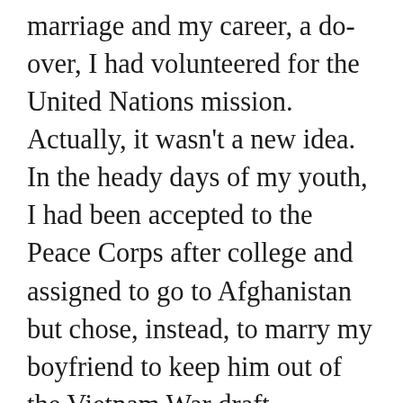marriage and my career, a do-over, I had volunteered for the United Nations mission. Actually, it wasn't a new idea. In the heady days of my youth, I had been accepted to the Peace Corps after college and assigned to go to Afghanistan but chose, instead, to marry my boyfriend to keep him out of the Vietnam War draft. Chickened out, not chose, I corrected myself. Everyone who came back from Afghanistan in the late 1960s had Giardia, the almost incurable, wicked kind of intestinal